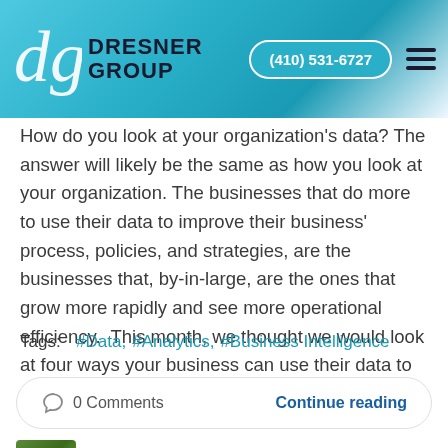[Figure (logo): Dresner Group logo with teal/blue gradient header background, 'dg' stylized icon, DRESNER GROUP text in dark, phone number (410) 531-6727 in teal pill button, and hamburger menu icon]
How do you look at your organization's data? The answer will likely be the same as how you look at your organization. The businesses that do more to use their data to improve their business' process, policies, and strategies, are the businesses that, by-in-large, are the ones that grow more rapidly and see more operational efficiency.  This month, we thought we would look at four ways your business can use their data to actively improve its operations.
Tags:  #Data, #Analytics, #Business Intelligence
0 Comments   Continue reading